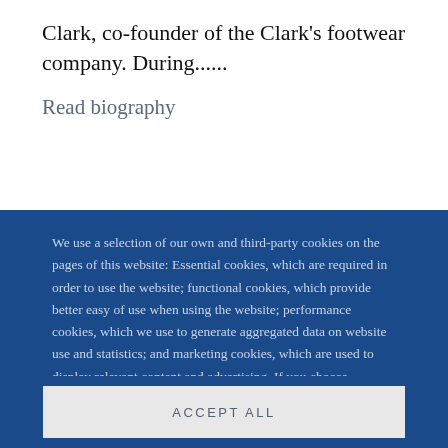Clark, co-founder of the Clark's footwear company. During......
Read biography
We use a selection of our own and third-party cookies on the pages of this website: Essential cookies, which are required in order to use the website; functional cookies, which provide better easy of use when using the website; performance cookies, which we use to generate aggregated data on website use and statistics; and marketing cookies, which are used to display relevant content and advertising. If you choose "ACCEPT ALL", you consent to the use of all cookies. You can accept and
ACCEPT ALL